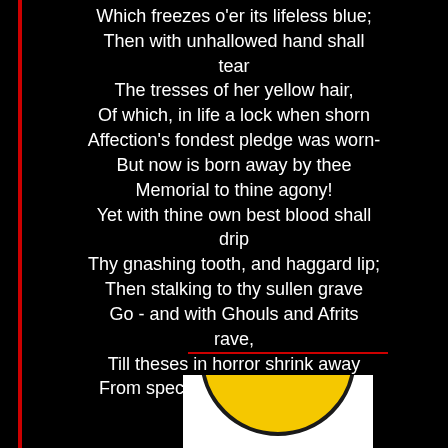Which freezes o'er its lifeless blue;
Then with unhallowed hand shall tear
The tresses of her yellow hair,
Of which, in life a lock when shorn
Affection's fondest pledge was worn-
But now is born away by thee
Memorial to thine agony!
Yet with thine own best blood shall drip
Thy gnashing tooth, and haggard lip;
Then stalking to thy sullen grave
Go - and with Ghouls and Afrits rave,
Till theses in horror shrink away
From spectre more accursed than they......
[Figure (illustration): Bottom portion of a yellow smiley face emoji with closed/distressed eyes, shown cropped at bottom of page against white background]